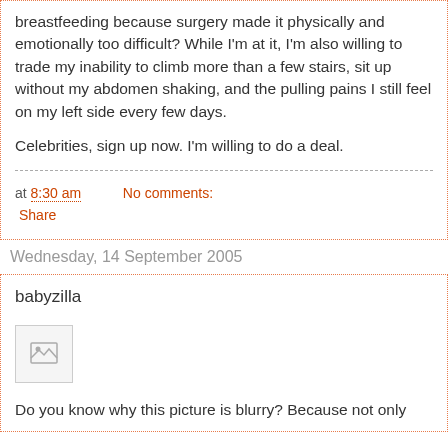breastfeeding because surgery made it physically and emotionally too difficult? While I'm at it, I'm also willing to trade my inability to climb more than a few stairs, sit up without my abdomen shaking, and the pulling pains I still feel on my left side every few days.
Celebrities, sign up now. I'm willing to do a deal.
at 8:30 am   No comments:
Share
Wednesday, 14 September 2005
babyzilla
[Figure (photo): Broken/missing image placeholder showing a small image icon]
Do you know why this picture is blurry? Because not only